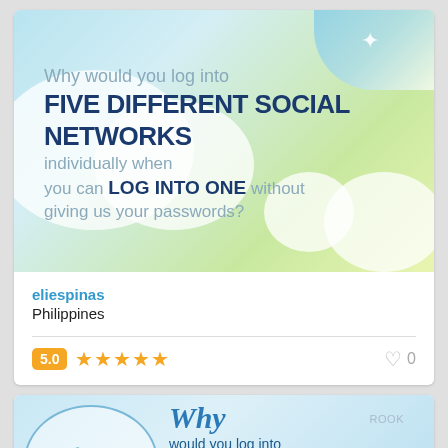[Figure (screenshot): First card showing an infographic image with clouds and blue sky background with text: 'Why would you log into FIVE DIFFERENT SOCIAL NETWORKS individually when you can LOG INTO ONE without giving us your passwords?']
eliespinas
Philippines
5.0 ★★★★★    ♡ 0
[Figure (screenshot): Second card partially visible showing a similar infographic with clouds, YouTube bubble, Facebook label, and text: 'Why would you log into 5 different social networks individually when you can']